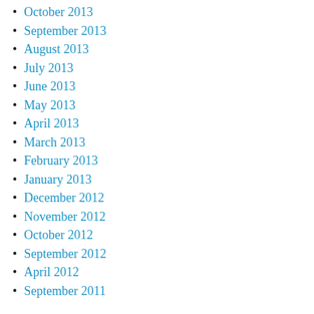October 2013
September 2013
August 2013
July 2013
June 2013
May 2013
April 2013
March 2013
February 2013
January 2013
December 2012
November 2012
October 2012
September 2012
April 2012
September 2011